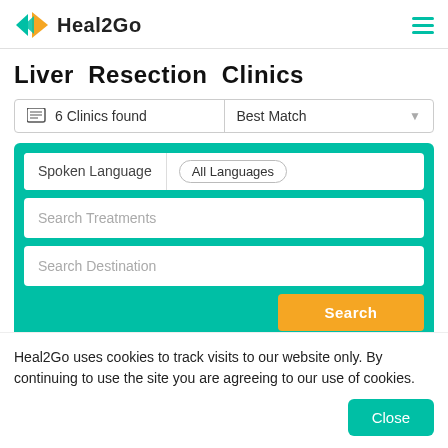[Figure (logo): Heal2Go logo with green diamond shapes and text 'Heal2Go']
Liver Resection Clinics
6 Clinics found   Best Match
Spoken Language   All Languages
Search Treatments
Search Destination
Heal2Go uses cookies to track visits to our website only. By continuing to use the site you are agreeing to our use of cookies.
Close